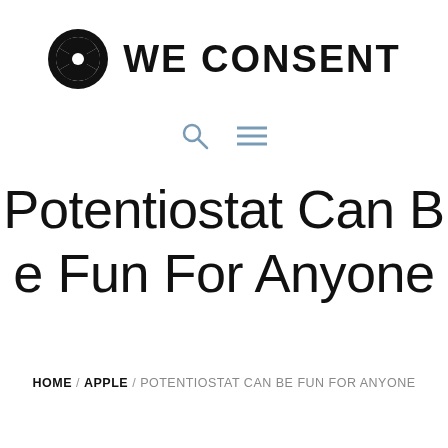[Figure (logo): We Consent logo: camera aperture icon and bold uppercase text 'WE CONSENT']
[Figure (infographic): Navigation icons: search (magnifying glass) and hamburger menu, rendered in muted blue]
Potentiostat Can Be Fun For Anyone
HOME / APPLE / POTENTIOSTAT CAN BE FUN FOR ANYONE